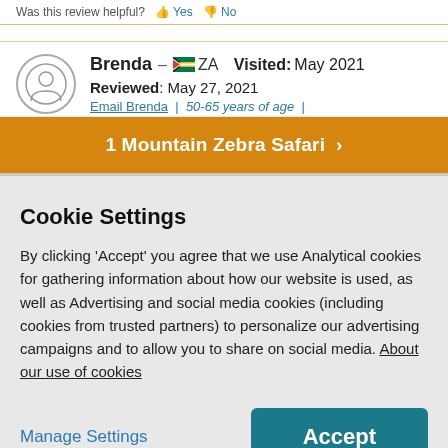Was this review helpful? Yes No
Brenda – ZA   Visited: May 2021
Reviewed: May 27, 2021
Email Brenda | 50-65 years of age |
1 Mountain Zebra Safari ›
Cookie Settings
By clicking 'Accept' you agree that we use Analytical cookies for gathering information about how our website is used, as well as Advertising and social media cookies (including cookies from trusted partners) to personalize our advertising campaigns and to allow you to share on social media. About our use of cookies
Manage Settings
Accept